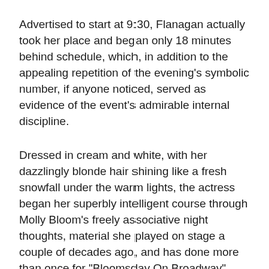Advertised to start at 9:30, Flanagan actually took her place and began only 18 minutes behind schedule, which, in addition to the appealing repetition of the evening's symbolic number, if anyone noticed, served as evidence of the event's admirable internal discipline.
Dressed in cream and white, with her dazzlingly blonde hair shining like a fresh snowfall under the warm lights, the actress began her superbly intelligent course through Molly Bloom's freely associative night thoughts, material she played on stage a couple of decades ago, and has done more than once for "Bloomsday On Broadway" observations.
One of the "Bloomsday" regulars, watching from